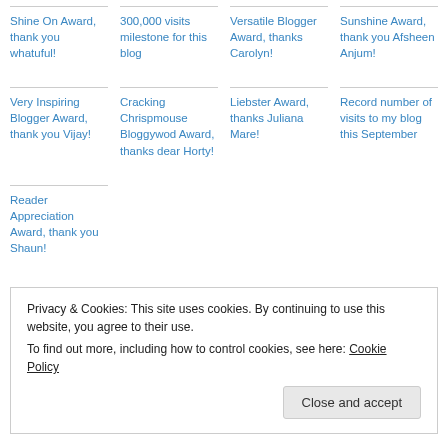Shine On Award, thank you whatuful!
300,000 visits milestone for this blog
Versatile Blogger Award, thanks Carolyn!
Sunshine Award, thank you Afsheen Anjum!
Very Inspiring Blogger Award, thank you Vijay!
Cracking Chrispmouse Bloggywod Award, thanks dear Horty!
Liebster Award, thanks Juliana Mare!
Record number of visits to my blog this September
Reader Appreciation Award, thank you Shaun!
Privacy & Cookies: This site uses cookies. By continuing to use this website, you agree to their use.
To find out more, including how to control cookies, see here: Cookie Policy
Close and accept